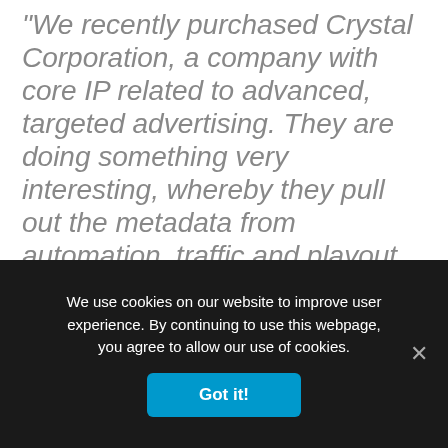"We recently purchased Crystal Corporation, a company with core IP related to advanced, targeted advertising. They are doing something very interesting, whereby they pull out the metadata from automation, traffic and playout systems, and they can then decorate the linear feed in a frame-accurate fashion. So, what's interesting here is the idea that not only can it be done in real-time and delivered either in-band or out of band, enabling downstream ad decisioning systems to anticipate such ad decisions ahead of time – making much better choices for advertisers and consumers."
We use cookies on our website to improve user experience. By continuing to use this webpage, you agree to allow our use of cookies.
Got it!